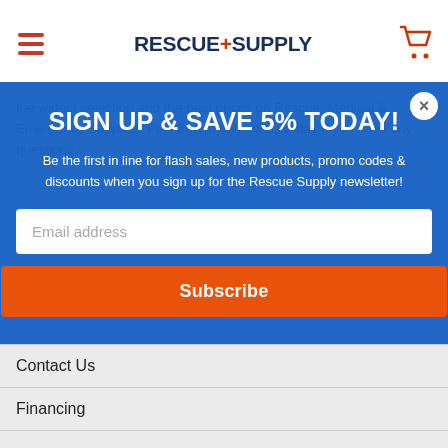RESCUE+SUPPLY
the widest selection and the best prices on Rescue, Medical & Emergency Supplies. Feel free to contact us today if you have any questions.
SIGN UP & SAVE 5% TODAY!
Be the first in line for flash sales, new products, promo codes & discounts when you sign up for the Rescue Supply newsletter!
Email address
Subscribe
Contact Us
Financing